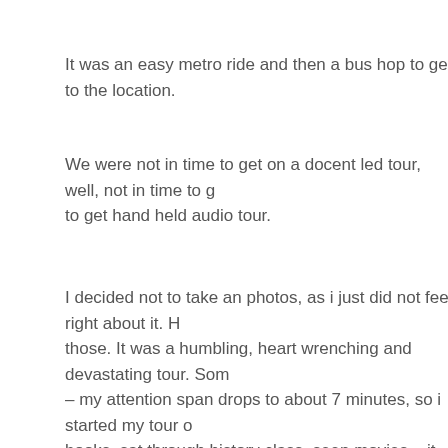It was an easy metro ride and then a bus hop to get to the location.
We were not in time to get on a docent led tour, well, not in time to g... to get hand held audio tour.
I decided not to take an photos, as i just did not feel right about it. H... those. It was a humbling, heart wrenching and devastating tour. Som... – my attention span drops to about 7 minutes, so i started my tour o... books, sat through history class, seen movies – it really is a different... Bunk rooms made for 100's that they stuff 1000's into. The poison a... had other lives after the liberation of the prisoners, but eventually it w... the 60's.
The museum is well done and had a tremendous amount of informa...
It's always something to keep in mind that the end result was terrible... there, to be able to do such horrible, immoral things, but it all started... and built from there… If you do something just a little more horrible t...